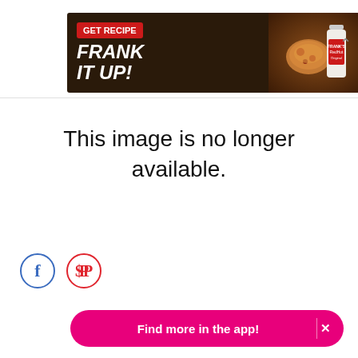[Figure (screenshot): Advertisement banner for Frank's RedHot sauce with GET RECIPE button and 'FRANK IT UP!' text, showing food and a hot sauce bottle]
This image is no longer available.
[Figure (illustration): Facebook and Pinterest social sharing icon buttons (circular outlines)]
[Figure (screenshot): Pink 'Find more in the app!' CTA button with close X]